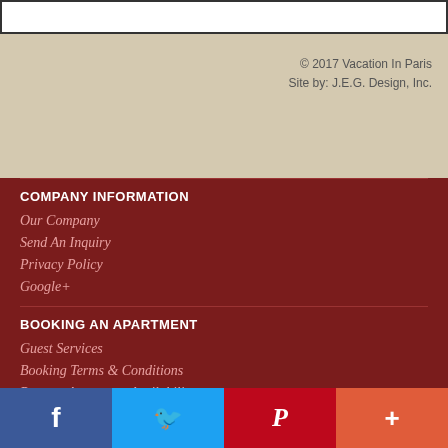© 2017 Vacation In Paris
Site by: J.E.G. Design, Inc.
COMPANY INFORMATION
Our Company
Send An Inquiry
Privacy Policy
Google+
BOOKING AN APARTMENT
Guest Services
Booking Terms & Conditions
Request Apartment Availability
APARTMENT TYPES, DISCOUNTED SPECIALS
All Apartments
All Studio Apartments
All One Bedroom Apartments
All Two & Three Bedroom Apartments
Discounted Specials
Home